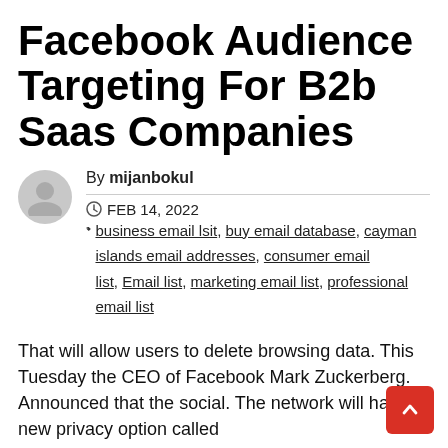Facebook Audience Targeting For B2b Saas Companies
By mijanbokul
FEB 14, 2022  business email lsit, buy email database, cayman islands email addresses, consumer email list, Email list, marketing email list, professional email list
That will allow users to delete browsing data. This Tuesday the CEO of Facebook Mark Zuckerberg. Announced that the social. The network will have a new privacy option called